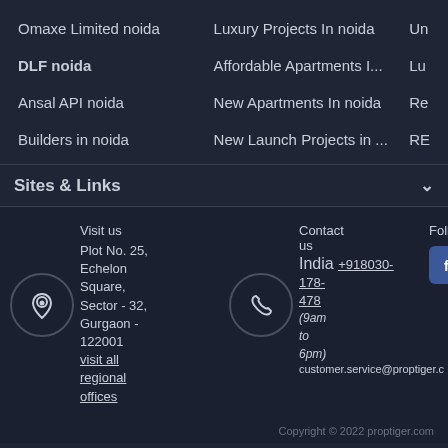Omaxe Limited noida
Luxury Projects In noida
Un
DLF noida
Affordable Apartments I...
Lu
Ansal API noida
New Apartments In noida
Re
Builders in noida
New Launch Projects in ...
RE
Sites & Links
Visit us Plot No. 25, Echelon Square, Sector - 32, Gurgaon - 122001 visit all regional offices
Contact us India +918030-178-478 (9am to 6pm) customer.service@proptiger.com
Follow Us
Copyright © 2022 proptiger.com